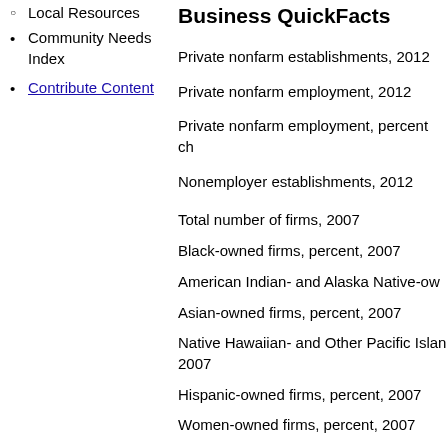Local Resources
Community Needs Index
Contribute Content
Business QuickFacts
Private nonfarm establishments, 2012
Private nonfarm employment, 2012
Private nonfarm employment, percent ch
Nonemployer establishments, 2012
Total number of firms, 2007
Black-owned firms, percent, 2007
American Indian- and Alaska Native-ow
Asian-owned firms, percent, 2007
Native Hawaiian- and Other Pacific Islan 2007
Hispanic-owned firms, percent, 2007
Women-owned firms, percent, 2007
Manufacturers shipments, 2007 ($1,000)
Merchant wholesaler sales, 2007 ($1,000